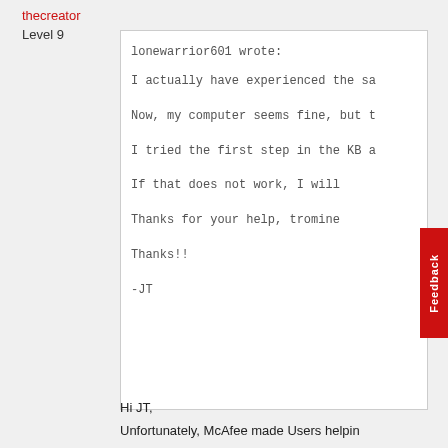thecreator
Level 9
lonewarrior601 wrote:

I actually have experienced the sa

Now, my computer seems fine, but t

I tried the first step in the KB a

If that does not work, I will

Thanks for your help, tromine

Thanks!!

-JT
Hi JT,
Unfortunately, McAfee made Users helpin